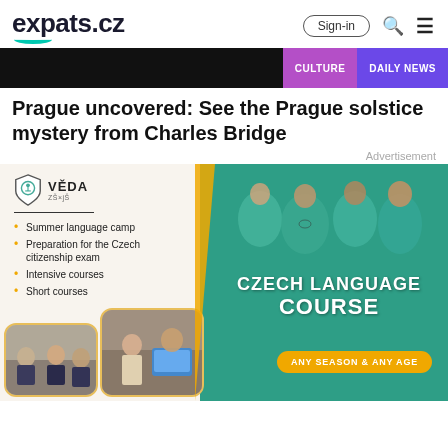expats.cz | Sign-in
[Figure (screenshot): Dark banner strip with CULTURE and DAILY NEWS tags on the right]
Prague uncovered: See the Prague solstice mystery from Charles Bridge
Advertisement
[Figure (infographic): VEDA Czech Language Course advertisement banner. Left white panel with VEDA logo and bullet list: Summer language camp, Preparation for the Czech citizenship exam, Intensive courses, Short courses. Right green panel with students photo, CZECH LANGUAGE COURSE text, ANY SEASON & ANY AGE button, and two classroom photo thumbnails at bottom.]